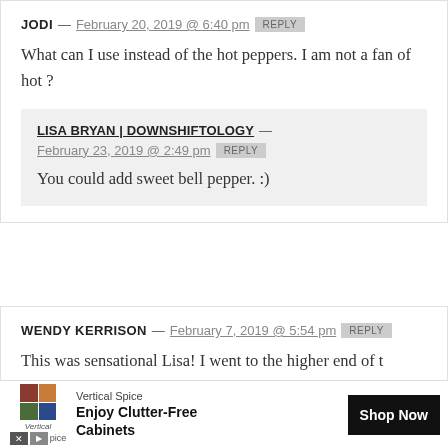JODI — February 20, 2019 @ 6:40 pm REPLY
What can I use instead of the hot peppers. I am not a fan of hot ?
LISA BRYAN | DOWNSHIFTOLOGY — February 23, 2019 @ 2:49 pm REPLY
You could add sweet bell pepper. :)
WENDY KERRISON — February 7, 2019 @ 5:54 pm REPLY
This was sensational Lisa! I went to the higher end of t
Vertical Spice Enjoy Clutter-Free Cabinets Shop Now